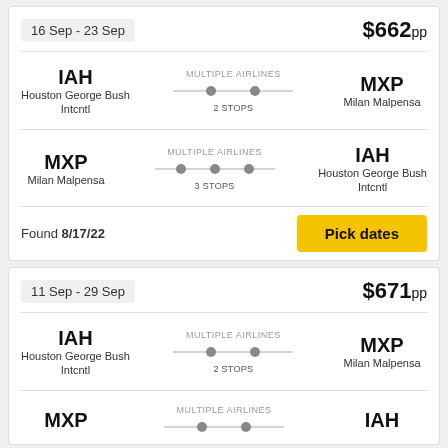16 Sep - 23 Sep
$662pp
IAH — Houston George Bush Intcntl → MXP Milan Malpensa, MULTIPLE AIRLINES, 2 STOPS
MXP Milan Malpensa → IAH Houston George Bush Intcntl, MULTIPLE AIRLINES, 3 STOPS
Found 8/17/22
Pick dates
11 Sep - 29 Sep
$671pp
IAH — Houston George Bush Intcntl → MXP Milan Malpensa, MULTIPLE AIRLINES, 2 STOPS
MXP → IAH, MULTIPLE AIRLINES